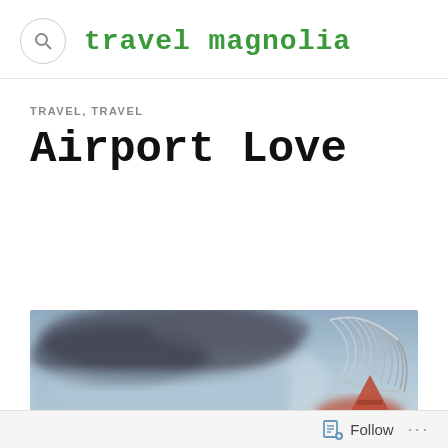travel magnolia
TRAVEL, TRAVEL
Airport Love
[Figure (photo): A blurred moody photograph of a stormy sky with dramatic dark clouds, and on the right side a metallic wing sculpture with a partial red letter or structure beneath it, suggesting an airport scene.]
Follow ...